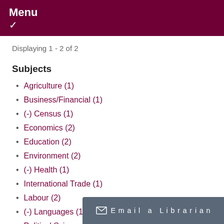Menu ✓
Displaying 1 - 2 of 2
Subjects
Agriculture (1)
Business/Financial (1)
(-) Census (1)
Economics (2)
Education (2)
Environment (2)
(-) Health (1)
International Trade (1)
Labour (2)
(-) Languages (1)
Political Science (1)
Population and Demo…
Science and Technolo…
Email a Librarian